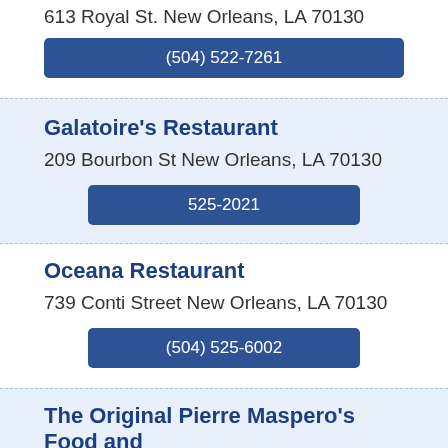613 Royal St. New Orleans, LA 70130
(504) 522-7261
Galatoire's Restaurant
209 Bourbon St New Orleans, LA 70130
525-2021
Oceana Restaurant
739 Conti Street New Orleans, LA 70130
(504) 525-6002
The Original Pierre Maspero's Food and